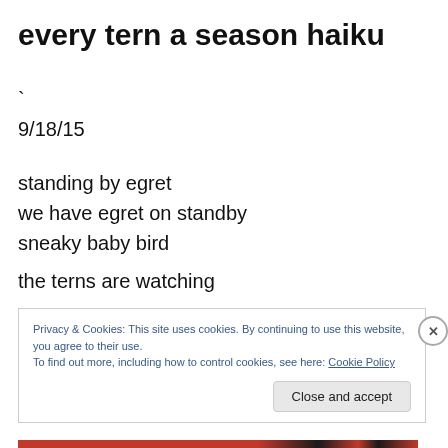every tern a season haiku
`
9/18/15
standing by egret
we have egret on standby
sneaky baby bird
the terns are watching
Privacy & Cookies: This site uses cookies. By continuing to use this website, you agree to their use.
To find out more, including how to control cookies, see here: Cookie Policy
Close and accept